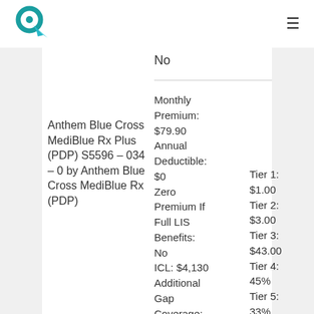logo and hamburger menu
No
Anthem Blue Cross MediBlue Rx Plus (PDP) S5596 – 034 – 0 by Anthem Blue Cross MediBlue Rx (PDP)
Monthly Premium: $79.90 Annual Deductible: $0 Zero Premium If Full LIS Benefits: No ICL: $4,130 Additional Gap Coverage:
Tier 1: $1.00 Tier 2: $3.00 Tier 3: $43.00 Tier 4: 45% Tier 5: 33%